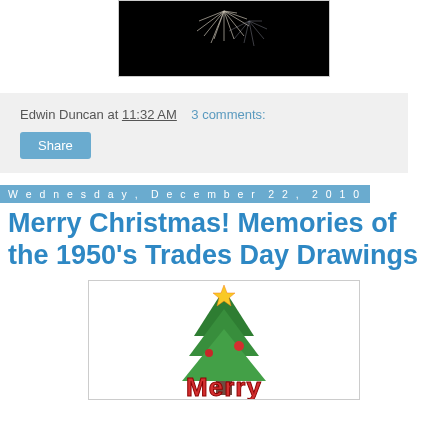[Figure (photo): Fireworks on dark/black background, white streaks of fireworks visible at top]
Edwin Duncan at 11:32 AM   3 comments:
Share
Wednesday, December 22, 2010
Merry Christmas! Memories of the 1950's Trades Day Drawings
[Figure (illustration): Colorful Christmas illustration with a Christmas tree, star on top, and the word 'Merry' in red letters with decorative styling]